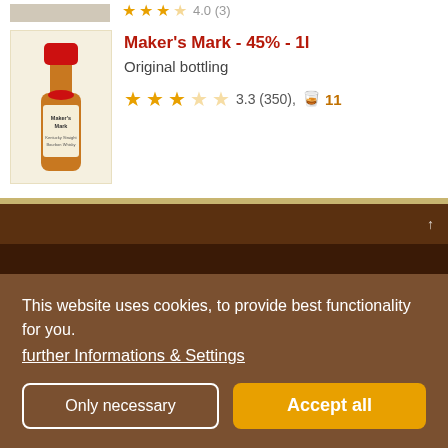[Figure (photo): Truncated product image at top left corner, partially visible]
[Figure (photo): Maker's Mark whiskey bottle illustration]
Maker's Mark - 45% - 1l
Original bottling
3.3 (350), 11
This website uses cookies, to provide best functionality for you.
further Informations & Settings
Only necessary
Accept all
Legal Notice | About Us